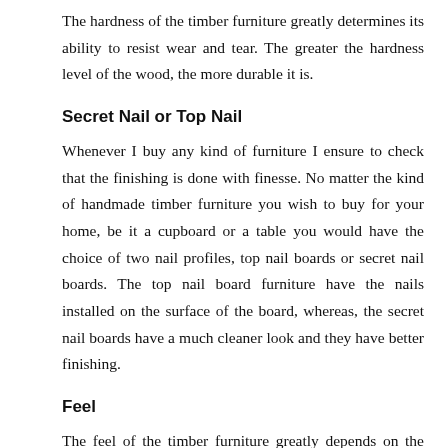The hardness of the timber furniture greatly determines its ability to resist wear and tear. The greater the hardness level of the wood, the more durable it is.
Secret Nail or Top Nail
Whenever I buy any kind of furniture I ensure to check that the finishing is done with finesse. No matter the kind of handmade timber furniture you wish to buy for your home, be it a cupboard or a table you would have the choice of two nail profiles, top nail boards or secret nail boards. The top nail board furniture have the nails installed on the surface of the board, whereas, the secret nail boards have a much cleaner look and they have better finishing.
Feel
The feel of the timber furniture greatly depends on the technique used to make it. Often times the wooden pieces that are cut inappropriately tend to make squeaking noise due to